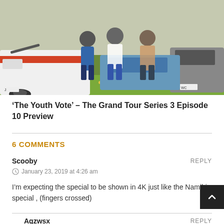[Figure (photo): Photo of people standing in a grassy field next to cars including a white car with red stripe on the left and a dark car on the right]
‘The Youth Vote’ – The Grand Tour Series 3 Episode 10 Preview
6 COMMENTS
Scooby
January 23, 2019 at 4:26 am
I’m expecting the special to be shown in 4K just like the Namibia special , (fingers crossed)
Aqzwsx
January 25, 2019 at 1:51 am